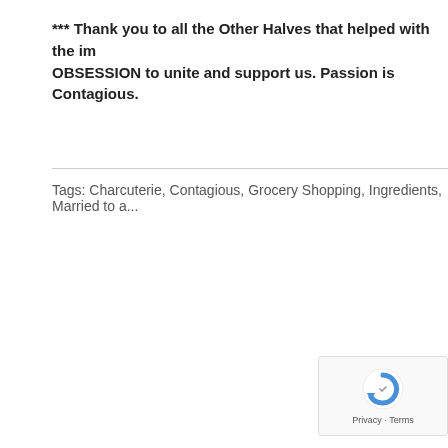*** Thank you to all the Other Halves that helped with the im OBSESSION to unite and support us. Passion is Contagious.
Tags: Charcuterie, Contagious, Grocery Shopping, Ingredients, Married to a...
[Figure (other): reCAPTCHA widget with circular arrow logo and 'Privacy - Terms' text]